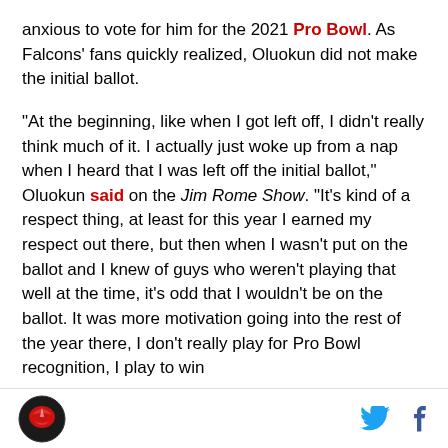anxious to vote for him for the 2021 Pro Bowl. As Falcons' fans quickly realized, Oluokun did not make the initial ballot.
“At the beginning, like when I got left off, I didn’t really think much of it. I actually just woke up from a nap when I heard that I was left off the initial ballot,” Oluokun said on the Jim Rome Show. “It’s kind of a respect thing, at least for this year I earned my respect out there, but then when I wasn’t put on the ballot and I knew of guys who weren’t playing that well at the time, it’s odd that I wouldn’t be on the ballot. It was more motivation going into the rest of the year there, I don’t really play for Pro Bowl recognition, I play to win
Falcons logo and social share icons